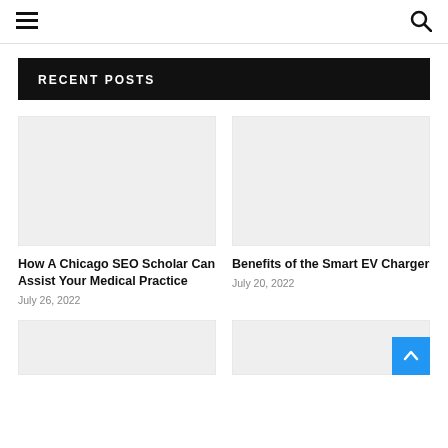≡  🔍
RECENT POSTS
[Figure (photo): Placeholder image for post 1]
How A Chicago SEO Scholar Can Assist Your Medical Practice
July 26, 2022
[Figure (photo): Placeholder image for post 2]
Benefits of the Smart EV Charger
July 20, 2022
[Figure (photo): Placeholder image for post 3]
[Figure (photo): Placeholder image for post 4]